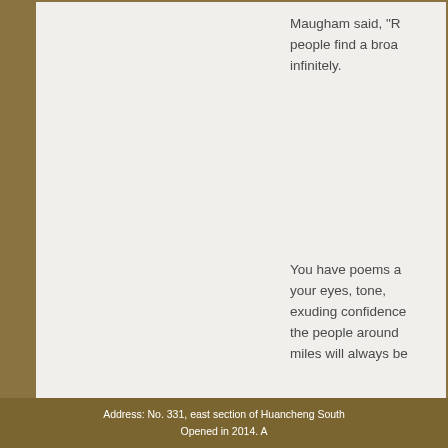Maugham said, “R… people find a broa… infinitely.
You have poems a… your eyes, tone, … exuding confidence… the people around… miles will always be…
Prev:A small fishing village bu…
→ Go Back
Address: No. 331, east section of Huancheng South… Opened in 2014. A…